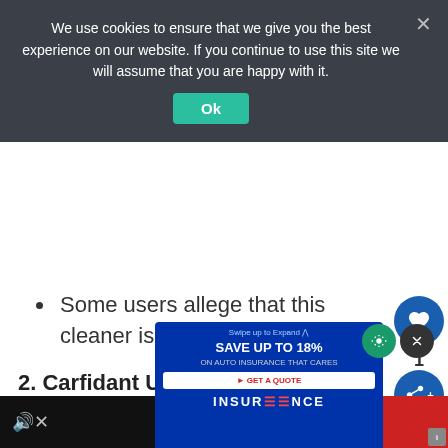We use cookies to ensure that we give you the best experience on our website. If you continue to use this site we will assume that you are happy with it.
Ok
Some users allege that this cleaner is too streaky
Check Price & Reviews on Amazon
WHAT'S NEXT → Best Waterproof...
2. Carfidant Ultimate Car Inter...
[Figure (screenshot): Insurance advertisement overlay showing 'Swipe up to Expand', 'SAVE UP TO 18% ON AUTO INSURANCE THAT CARES', 'GET A QUOTE' button, and INSURANCE brand logo on dark blue background]
[Figure (screenshot): Video player in dark/black background with mute icon, and red background section to the right]